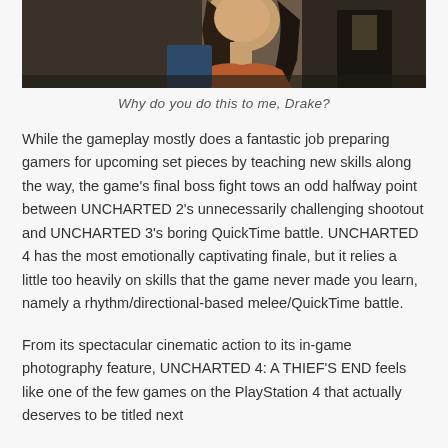[Figure (photo): Close-up photo of a female game character from Uncharted 4, appearing emotional or distressed, dark background]
Why do you do this to me, Drake?
While the gameplay mostly does a fantastic job preparing gamers for upcoming set pieces by teaching new skills along the way, the game's final boss fight tows an odd halfway point between UNCHARTED 2's unnecessarily challenging shootout and UNCHARTED 3's boring QuickTime battle. UNCHARTED 4 has the most emotionally captivating finale, but it relies a little too heavily on skills that the game never made you learn, namely a rhythm/directional-based melee/QuickTime battle.
From its spectacular cinematic action to its in-game photography feature, UNCHARTED 4: A THIEF'S END feels like one of the few games on the PlayStation 4 that actually deserves to be titled next